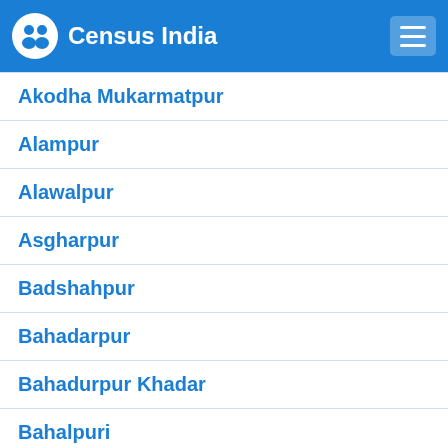Census India
Akodha Mukarmatpur
Alampur
Alawalpur
Asgharpur
Badshahpur
Bahadarpur
Bahadurpur Khadar
Bahalpuri
Bakarpur
Balchand Wala
Banuwala